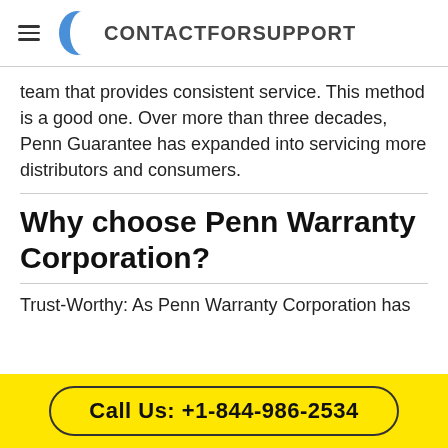CONTACTFORSUPPORT
team that provides consistent service. This method is a good one. Over more than three decades, Penn Guarantee has expanded into servicing more distributors and consumers.
Why choose Penn Warranty Corporation?
Trust-Worthy: As Penn Warranty Corporation has
Call Us: +1-844-986-2534